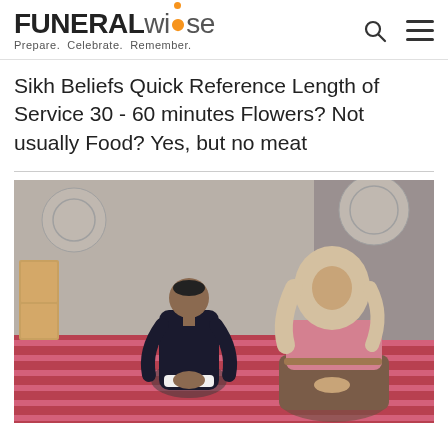FUNERALwise Prepare. Celebrate. Remember.
Sikh Beliefs Quick Reference Length of Service 30 - 60 minutes Flowers? Not usually Food? Yes, but no meat
[Figure (photo): Two people seen from behind kneeling in prayer on a red patterned carpet inside a mosque or prayer hall. The person on the left wears a dark suit and a small cap. The person on the right wears a beige hijab and a pink floral top with a brown skirt.]